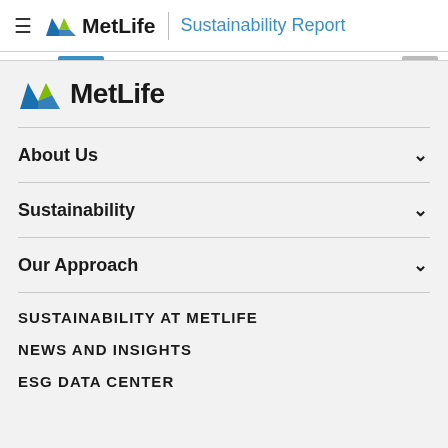MetLife | Sustainability Report
[Figure (logo): MetLife logo with stylized M in blue and green]
About Us
Sustainability
Our Approach
SUSTAINABILITY AT METLIFE
NEWS AND INSIGHTS
ESG DATA CENTER